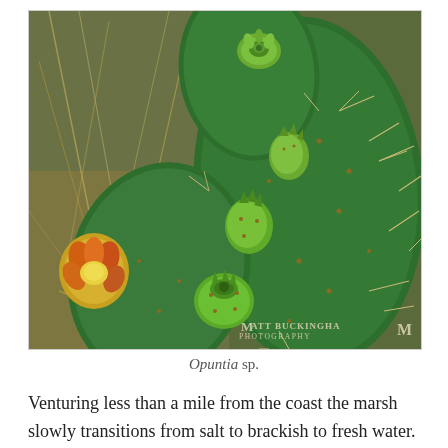[Figure (photo): Close-up photograph of a prickly pear cactus (Opuntia sp.) showing green paddles with multiple flower buds in various stages of development. Some buds are green, one on the left shows yellow-orange coloring. The cactus has visible spines and glochids. Background shows dry grass and vegetation. Watermark reads 'MATT BUCKINGHAM PHOTOGRAPHY' in the lower right corner.]
Opuntia sp.
Venturing less than a mile from the coast the marsh slowly transitions from salt to brackish to fresh water.  At the margins